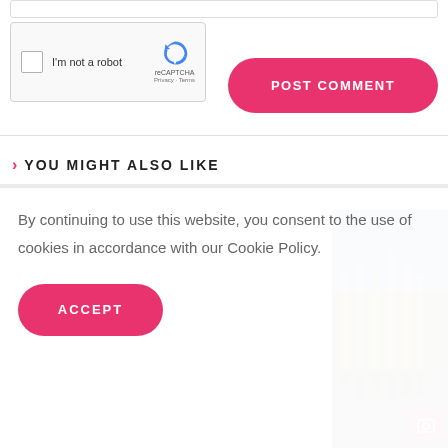[Figure (screenshot): reCAPTCHA widget with checkbox and 'I'm not a robot' label]
POST COMMENT
YOU MIGHT ALSO LIKE
By continuing to use this website, you consent to the use of cookies in accordance with our Cookie Policy.
ACCEPT
[Figure (photo): Night city building photo on right side]